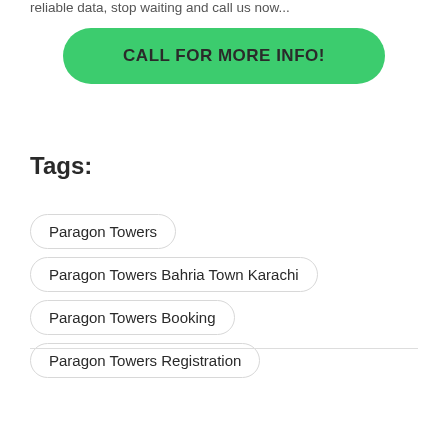reliable data, stop waiting and call us now...
[Figure (other): Green rounded rectangle button with text 'CALL FOR MORE INFO!']
Tags:
Paragon Towers
Paragon Towers Bahria Town Karachi
Paragon Towers Booking
Paragon Towers Registration
[Figure (photo): Gray avatar/profile placeholder image with white circle (person silhouette), and green chat bubble icon bottom left. Right side shows a lighter gray panel. Green WhatsApp-style icon on bottom right.]